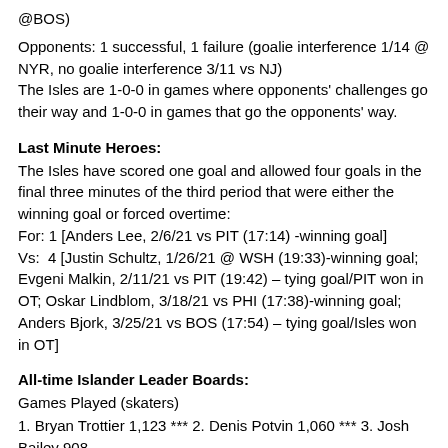@BOS)
Opponents: 1 successful, 1 failure (goalie interference 1/14 @ NYR, no goalie interference 3/11 vs NJ)
The Isles are 1-0-0 in games where opponents' challenges go their way and 1-0-0 in games that go the opponents' way.
Last Minute Heroes:
The Isles have scored one goal and allowed four goals in the final three minutes of the third period that were either the winning goal or forced overtime:
For: 1 [Anders Lee, 2/6/21 vs PIT (17:14) -winning goal]
Vs:  4 [Justin Schultz, 1/26/21 @ WSH (19:33)-winning goal; Evgeni Malkin, 2/11/21 vs PIT (19:42) – tying goal/PIT won in OT; Oskar Lindblom, 3/18/21 vs PHI (17:38)-winning goal; Anders Bjork, 3/25/21 vs BOS (17:54) – tying goal/Isles won in OT]
All-time Islander Leader Boards:
Games Played (skaters)
1. Bryan Trottier 1,123 *** 2. Denis Potvin 1,060 *** 3. Josh Bailey 908…